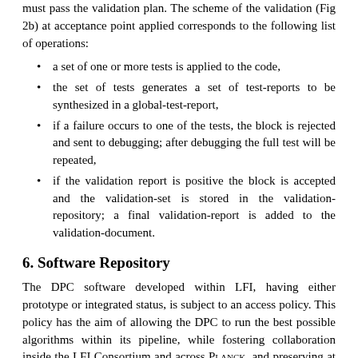must pass the validation plan. The scheme of the validation (Fig 2b) at acceptance point applied corresponds to the following list of operations:
a set of one or more tests is applied to the code,
the set of tests generates a set of test-reports to be synthesized in a global-test-report,
if a failure occurs to one of the tests, the block is rejected and sent to debugging; after debugging the full test will be repeated,
if the validation report is positive the block is accepted and the validation-set is stored in the validation-repository; a final validation-report is added to the validation-document.
6. Software Repository
The DPC software developed within LFI, having either prototype or integrated status, is subject to an access policy. This policy has the aim of allowing the DPC to run the best possible algorithms within its pipeline, while fostering collaboration inside the LFI Consortium and across PLANCK, and preserving at the same time the intellectual property of the code authors on the processing algorithms devised. The access policy can be summarized as follows:
LFI software can be electronically accessed through the LFI...